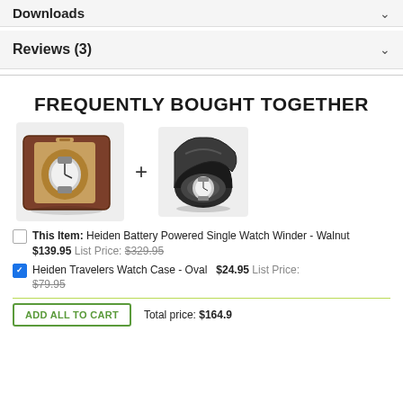Downloads
Reviews (3)
FREQUENTLY BOUGHT TOGETHER
[Figure (photo): Product photo of Heiden Battery Powered Single Watch Winder in Walnut wood finish with watch inside]
[Figure (photo): Product photo of Heiden Travelers Watch Case - Oval in black leather]
This Item: Heiden Battery Powered Single Watch Winder - Walnut  $139.95 List Price: $329.95
Heiden Travelers Watch Case - Oval  $24.95 List Price: $79.95
ADD ALL TO CART   Total price: $164.90